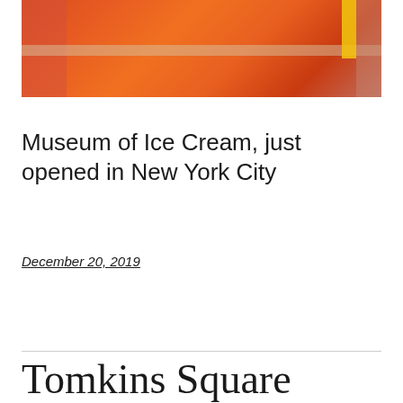[Figure (photo): Colorful orange and red geometric interior photo from the Museum of Ice Cream, with a yellow accent stripe visible at top right]
Museum of Ice Cream, just opened in New York City
December 20, 2019
Tomkins Square